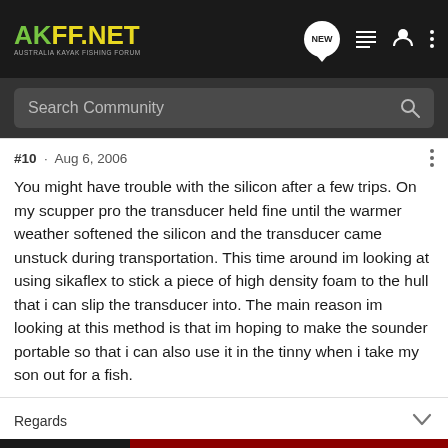AKFF.NET - AUSTRALIA KAYAK FISHING FORUM
Search Community
#10 · Aug 6, 2006
You might have trouble with the silicon after a few trips. On my scupper pro the transducer held fine until the warmer weather softened the silicon and the transducer came unstuck during transportation. This time around im looking at using sikaflex to stick a piece of high density foam to the hull that i can slip the transducer into. The main reason im looking at this method is that im hoping to make the sounder portable so that i can also use it in the tinny when i take my son out for a fish.
Regards
[Figure (screenshot): Advertisement banner: 'YOUR NEW FAVORITE SPORT - EXPLORE HOW TO RESPONSIBLY PARTICIPATE IN THE SHOOTING SPORTS. START HERE!']